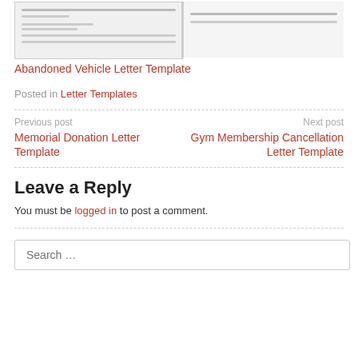[Figure (screenshot): Two blurred document thumbnail images side by side showing letter templates]
Abandoned Vehicle Letter Template
Posted in Letter Templates
Previous post
Memorial Donation Letter Template
Next post
Gym Membership Cancellation Letter Template
Leave a Reply
You must be logged in to post a comment.
Search …